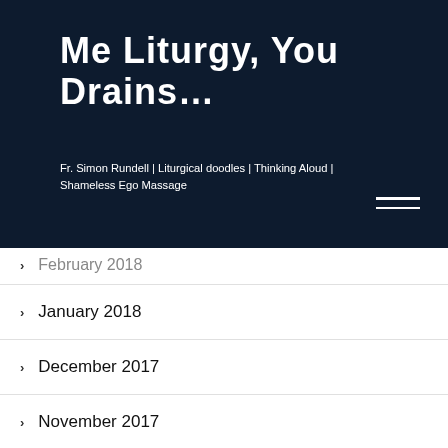Me Liturgy, You Drains...
Fr. Simon Rundell | Liturgical doodles | Thinking Aloud | Shameless Ego Massage
February 2018
January 2018
December 2017
November 2017
October 2017
September 2017